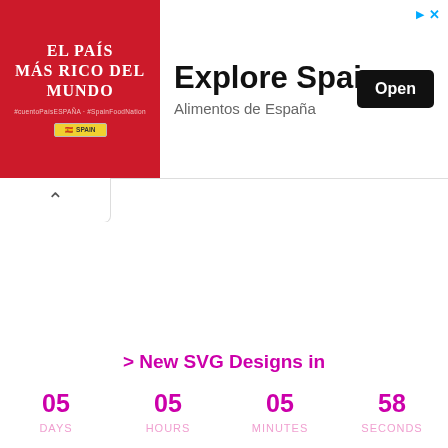[Figure (other): Advertisement banner for 'Explore Spain / Alimentos de España'. Left side has red background with white text 'EL PAÍS MÁS RICO DEL MUNDO' and hashtag text and Spanish flag logo. Right side shows 'Explore Spain' headline, 'Alimentos de España' subtitle, and a black 'Open' button. Top-right has blue arrow and X icons.]
[Figure (other): Collapse/chevron-up button row beneath the ad banner, showing an upward-pointing caret symbol.]
> New SVG Designs in
05  05  05  58
DAYS  HOURS  MINUTES  SECONDS